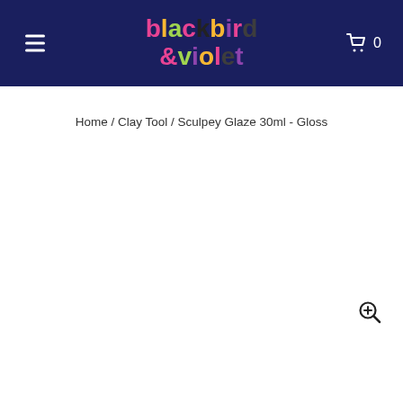blackbird &violet
Home / Clay Tool / Sculpey Glaze 30ml - Gloss
[Figure (other): White empty product image area with zoom icon in bottom right corner]